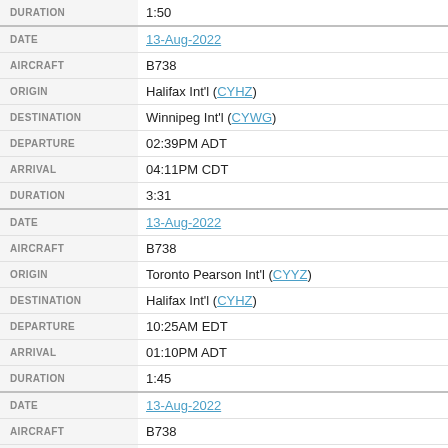| Field | Value |
| --- | --- |
| DURATION | 1:50 |
| DATE | 13-Aug-2022 |
| AIRCRAFT | B738 |
| ORIGIN | Halifax Int'l (CYHZ) |
| DESTINATION | Winnipeg Int'l (CYWG) |
| DEPARTURE | 02:39PM ADT |
| ARRIVAL | 04:11PM CDT |
| DURATION | 3:31 |
| DATE | 13-Aug-2022 |
| AIRCRAFT | B738 |
| ORIGIN | Toronto Pearson Int'l (CYYZ) |
| DESTINATION | Halifax Int'l (CYHZ) |
| DEPARTURE | 10:25AM EDT |
| ARRIVAL | 01:10PM ADT |
| DURATION | 1:45 |
| DATE | 13-Aug-2022 |
| AIRCRAFT | B738 |
| ORIGIN | Calgary Int'l (CYYC) |
| DESTINATION | Toronto Pearson Int'l (CYYZ) |
| DEPARTURE | 01:21AM MDT |
| ARRIVAL | 01:05AM EDT |